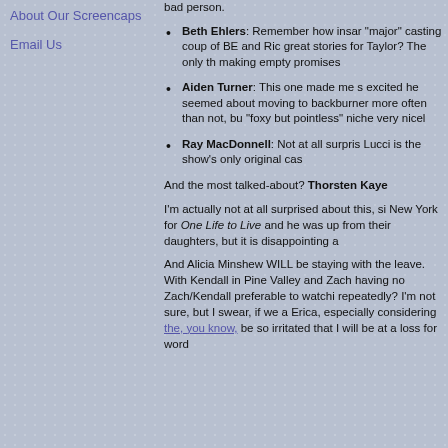About Our Screencaps
Email Us
bad person.
Beth Ehlers: Remember how insa... "major" casting coup of BE and Ric... great stories for Taylor? The only th... making empty promises
Aiden Turner: This one made me s... excited he seemed about moving to... backburner more often than not, bu... "foxy but pointless" niche very nicel...
Ray MacDonnell: Not at all surpris... Lucci is the show's only original cas...
And the most talked-about? Thorsten Kaye
I'm actually not at all surprised about this, si... New York for One Life to Live and he was up... from their daughters, but it is disappointing a...
And Alicia Minshew WILL be staying with the... leave. With Kendall in Pine Valley and Zach... having no Zach/Kendall preferable to watchi... repeatedly? I'm not sure, but I swear, if we a... Erica, especially considering the, you know,... be so irritated that I will be at a loss for word...